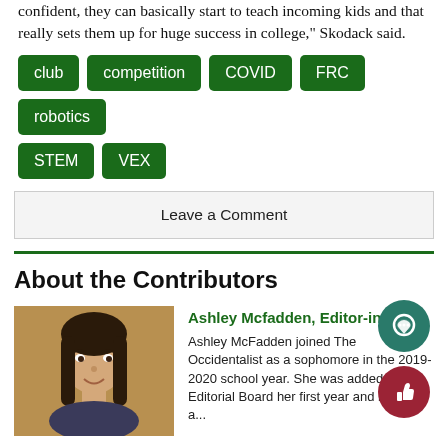confident, they can basically start to teach incoming kids and that really sets them up for huge success in college," Skodack said.
club
competition
COVID
FRC
robotics
STEM
VEX
Leave a Comment
About the Contributors
[Figure (photo): Headshot photo of Ashley McFadden, a young woman with long dark hair, smiling, against a golden-brown background.]
Ashley Mcfadden, Editor-in-Chief
Ashley McFadden joined The Occidentalist as a sophomore in the 2019-2020 school year. She was added to the Editorial Board her first year and became a...